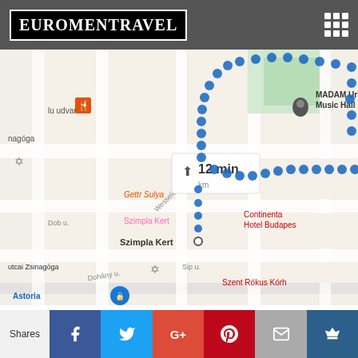EuroMenTravel
[Figure (map): Google Maps screenshot showing a walking route in Budapest near Szimpla Kert, with a route indicator showing 12 min, passing by MADAM Urban Music Hall, Continental Hotel Budapest, and Dohany utcai Zsinagoga. A blue dotted walking path is shown on the map.]
Conclusion
Even if you are low with the attention span of a ten step wearing...